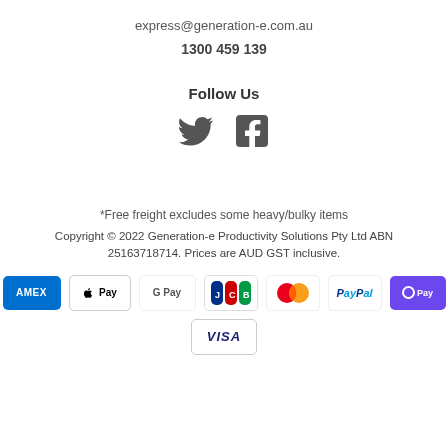express@generation-e.com.au
1300 459 139
Follow Us
[Figure (illustration): Twitter and Facebook social media icons]
*Free freight excludes some heavy/bulky items
Copyright © 2022 Generation-e Productivity Solutions Pty Ltd ABN 25163718714. Prices are AUD GST inclusive.
[Figure (illustration): Payment method icons: American Express, Apple Pay, Google Pay, JCB, Mastercard, PayPal, OPay, Visa]